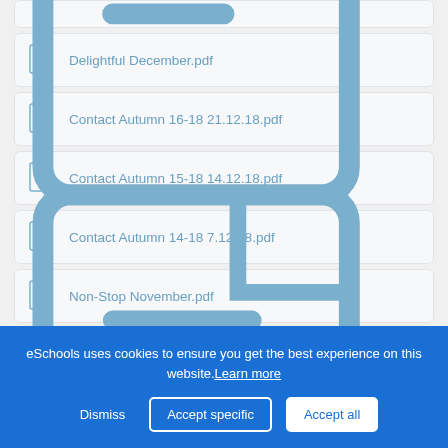(partial file item at top)
Delightful December.pdf
Contact Autumn 16-18 21.12.18.pdf
Contact Autumn 15-18 14.12.18.pdf
Contact Autumn 14-18 7.12.18.pdf
Non-Stop November.pdf
Contact Autumn 13-18 30.11.18.pdf
(partial file item at bottom)
eSchools uses cookies to ensure you get the best experience on this website. Learn more
Dismiss | Accept specific | Accept all